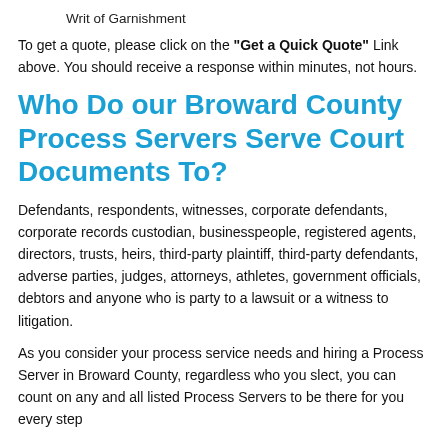Writ of Garnishment
To get a quote, please click on the "Get a Quick Quote" Link above. You should receive a response within minutes, not hours.
Who Do our Broward County Process Servers Serve Court Documents To?
Defendants, respondents, witnesses, corporate defendants, corporate records custodian, businesspeople, registered agents, directors, trusts, heirs, third-party plaintiff, third-party defendants, adverse parties, judges, attorneys, athletes, government officials, debtors and anyone who is party to a lawsuit or a witness to litigation.
As you consider your process service needs and hiring a Process Server in Broward County, regardless who you slect, you can count on any and all listed Process Servers to be there for you every step